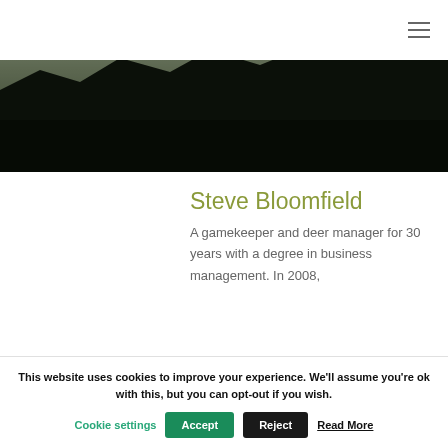[Figure (photo): Dark hero image showing a silhouette landscape with sky, appears to be a field or hillside at dusk/dawn]
Steve Bloomfield
A gamekeeper and deer manager for 30 years with a degree in business management. In 2008,
This website uses cookies to improve your experience. We'll assume you're ok with this, but you can opt-out if you wish.
Cookie settings  Accept  Reject  Read More